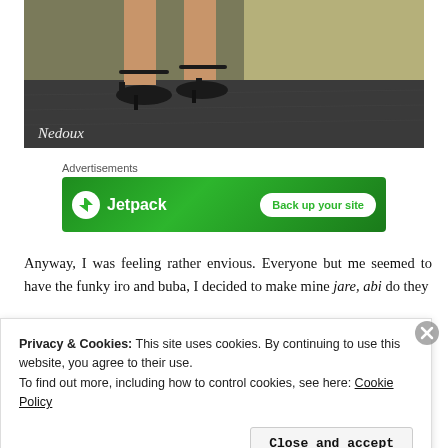[Figure (photo): Cropped photo showing woman's legs and feet wearing black high-heel ankle strap sandals, standing on a dark floor against a beige/olive wall. Watermark 'Nedoux' in cursive at bottom left.]
Advertisements
[Figure (other): Jetpack advertisement banner with green background, Jetpack logo and 'Back up your site' button.]
Anyway, I was feeling rather envious. Everyone but me seemed to have the funky iro and buba, I decided to make mine jare, abi do they
Privacy & Cookies: This site uses cookies. By continuing to use this website, you agree to their use.
To find out more, including how to control cookies, see here: Cookie Policy
Close and accept